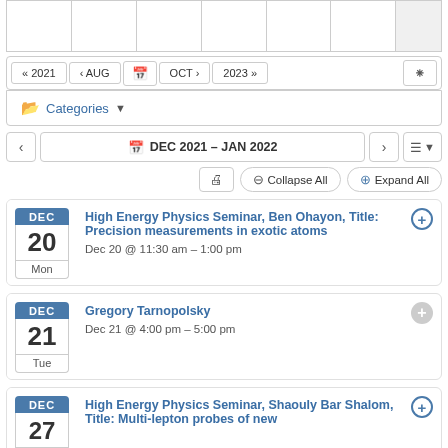[Figure (screenshot): Top portion of a calendar grid with empty cells, last column shaded gray]
« 2021  ‹ AUG  [calendar icon]  OCT ›  2023 »  [RSS icon]
Categories ▼
‹  [calendar icon] DEC 2021 – JAN 2022  ›  [list icon] ▼
[print]  ⊖ Collapse All  ⊕ Expand All
DEC 20 Mon — High Energy Physics Seminar, Ben Ohayon, Title: Precision measurements in exotic atoms — Dec 20 @ 11:30 am – 1:00 pm
DEC 21 Tue — Gregory Tarnopolsky — Dec 21 @ 4:00 pm – 5:00 pm
DEC 27 — High Energy Physics Seminar, Shaouly Bar Shalom, Title: Multi-lepton probes of new